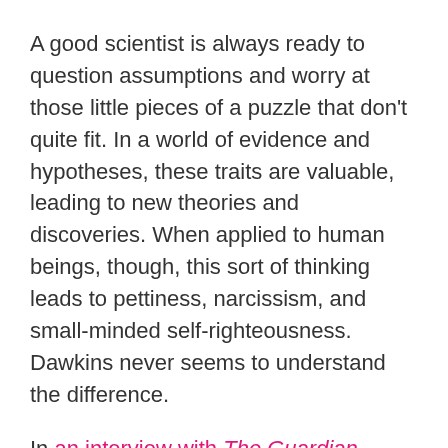A good scientist is always ready to question assumptions and worry at those little pieces of a puzzle that don't quite fit. In a world of evidence and hypotheses, these traits are valuable, leading to new theories and discoveries. When applied to human beings, though, this sort of thinking leads to pettiness, narcissism, and small-minded self-righteousness. Dawkins never seems to understand the difference.
In an interview with The Guardian earlier this year, he admitted that he does sometimes go too far online. "I think there is a curious desire in humans, maybe not all humans but certainly in me, to put things right," he told the paper. "There's a joke in The New Yorker or something like that, of a man at